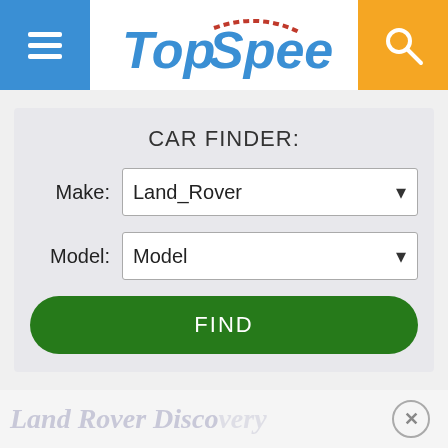[Figure (screenshot): TopSpeed website header with blue hamburger menu button on left, TopSpeed logo in center, orange search button on right]
CAR FINDER:
Make: Land_Rover
Model: Model
FIND
Land Rover Discovery